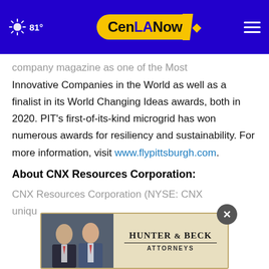81° CenLANow
company magazine as one of the Most Innovative Companies in the World as well as a finalist in its World Changing Ideas awards, both in 2020. PIT's first-of-its-kind microgrid has won numerous awards for resiliency and sustainability. For more information, visit www.flypittsburgh.com.
About CNX Resources Corporation:
CNX Resources Corporation (NYSE: CNX) uniquely
[Figure (other): Hunter & Beck Attorneys advertisement banner with two attorneys' photos]